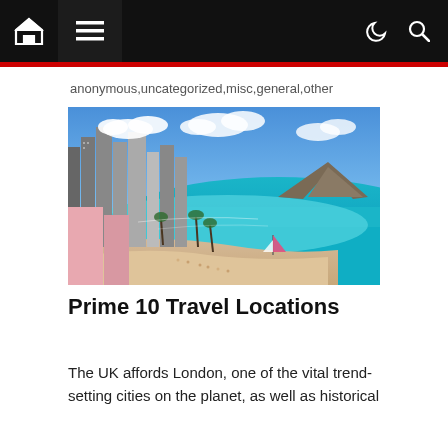Navigation bar with home, menu, dark mode, and search icons
anonymous,uncategorized,misc,general,other
[Figure (photo): Aerial view of Waikiki Beach in Honolulu, Hawaii — turquoise ocean, white sandy beach crowded with people, high-rise hotels and buildings on the left, Diamond Head crater in the background under a blue sky with clouds, a pink sailboat in the water.]
Prime 10 Travel Locations
The UK affords London, one of the vital trend-setting cities on the planet, as well as historical